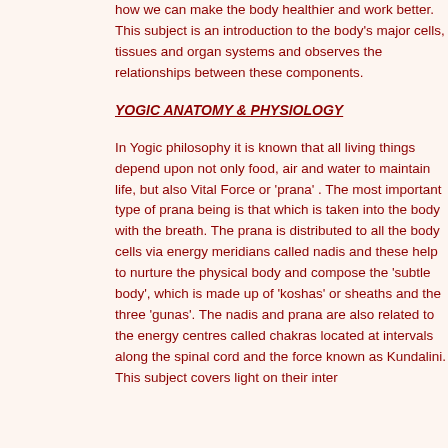how we can make the body healthier and work better. This subject is an introduction to the body's major cells, tissues and organ systems and observes the relationships between these components.
YOGIC ANATOMY & PHYSIOLOGY
In Yogic philosophy it is known that all living things depend upon not only food, air and water to maintain life, but also Vital Force or 'prana' . The most important type of prana being is that which is taken into the body with the breath. The prana is distributed to all the body cells via energy meridians called nadis and these help to nurture the physical body and compose the 'subtle body', which is made up of 'koshas' or sheaths and the three 'gunas'. The nadis and prana are also related to the energy centres called chakras located at intervals along the spinal cord and the force known as Kundalini. This subject covers light on their inter...